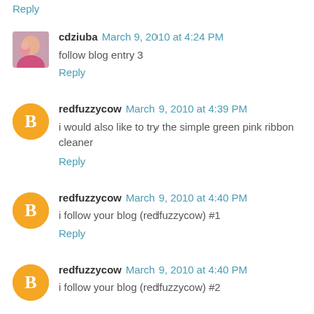Reply
cdziuba March 9, 2010 at 4:24 PM
follow blog entry 3
Reply
redfuzzycow March 9, 2010 at 4:39 PM
i would also like to try the simple green pink ribbon cleaner
Reply
redfuzzycow March 9, 2010 at 4:40 PM
i follow your blog (redfuzzycow) #1
Reply
redfuzzycow March 9, 2010 at 4:40 PM
i follow your blog (redfuzzycow) #2